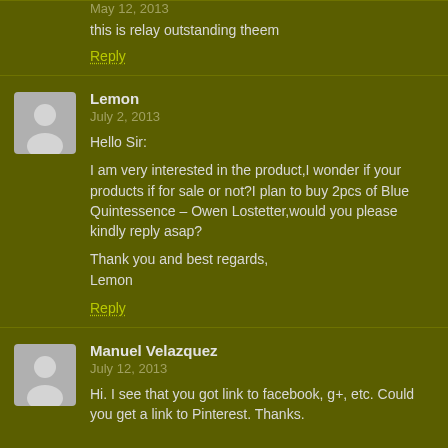May 12, 2013
this is relay outstanding theem
Reply
Lemon
July 2, 2013
Hello Sir:

I am very interested in the product,I wonder if your products if for sale or not?I plan to buy 2pcs of Blue Quintessence – Owen Lostetter,would you please kindly reply asap?

Thank you and best regards,
Lemon
Reply
Manuel Velazquez
July 12, 2013
Hi. I see that you got link to facebook, g+, etc. Could you get a link to Pinterest. Thanks.